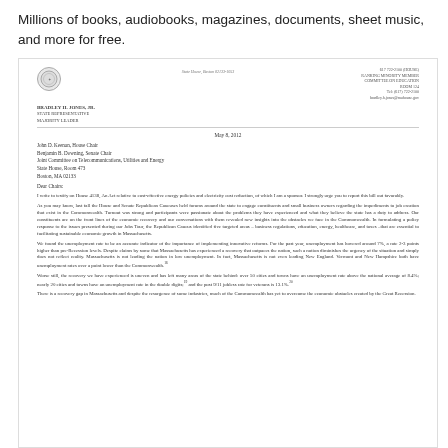Millions of books, audiobooks, magazines, documents, sheet music, and more for free.
[Figure (other): Scanned image of a Massachusetts House of Representatives official letter dated May 8, 2012 from Bradley H. Jones, Jr. addressed to Joint Committee on Telecommunications, Utilities and Energy chairs, testifying on House 4138 regarding energy policy and electricity cost reduction.]